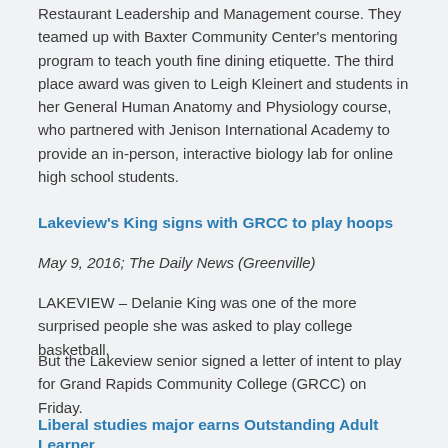Restaurant Leadership and Management course. They teamed up with Baxter Community Center's mentoring program to teach youth fine dining etiquette. The third place award was given to Leigh Kleinert and students in her General Human Anatomy and Physiology course, who partnered with Jenison International Academy to provide an in-person, interactive biology lab for online high school students.
Lakeview's King signs with GRCC to play hoops
May 9, 2016; The Daily News (Greenville)
LAKEVIEW – Delanie King was one of the more surprised people she was asked to play college basketball.
But the Lakeview senior signed a letter of intent to play for Grand Rapids Community College (GRCC) on Friday.
Liberal studies major earns Outstanding Adult Learner